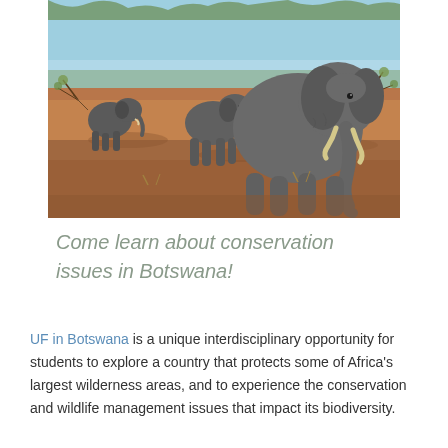[Figure (photo): Photograph of three elephants walking through dry African savanna with red-brown soil, sparse vegetation, and a light blue sky. A large adult elephant is prominent in the foreground with two smaller elephants behind it.]
Come learn about conservation issues in Botswana!
UF in Botswana is a unique interdisciplinary opportunity for students to explore a country that protects some of Africa's largest wilderness areas, and to experience the conservation and wildlife management issues that impact its biodiversity.